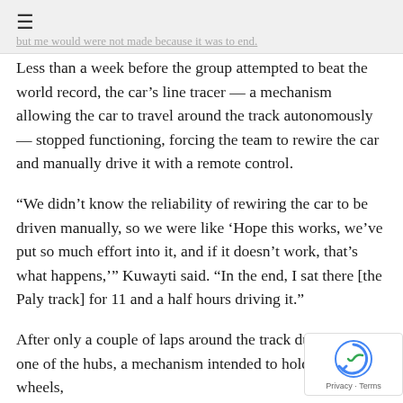≡
but me would were not made because it was to end.
Less than a week before the group attempted to beat the world record, the car's line tracer — a mechanism allowing the car to travel around the track autonomously — stopped functioning, forcing the team to rewire the car and manually drive it with a remote control.
“We didn’t know the reliability of rewiring the car to be driven manually, so we were like ‘Hope this works, we’ve put so much effort into it, and if it doesn’t work, that’s what happens,’” Kuwayti said. “In the end, I sat there [the Paly track] for 11 and a half hours driving it.”
After only a couple of laps around the track during the of one of the hubs, a mechanism intended to hold the car’s wheels,